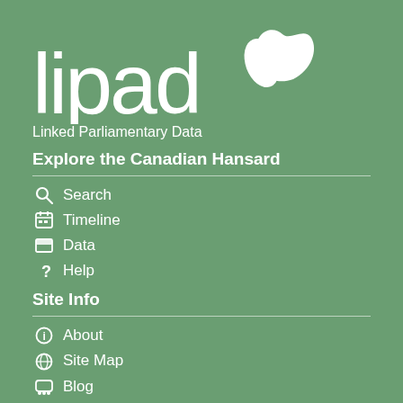[Figure (logo): lipad logo — the word 'lipad' in large white sans-serif text followed by a stylized leaf/parliament icon consisting of two white organic leaf shapes]
Linked Parliamentary Data
Explore the Canadian Hansard
Search
Timeline
Data
Help
Site Info
About
Site Map
Blog
Contact